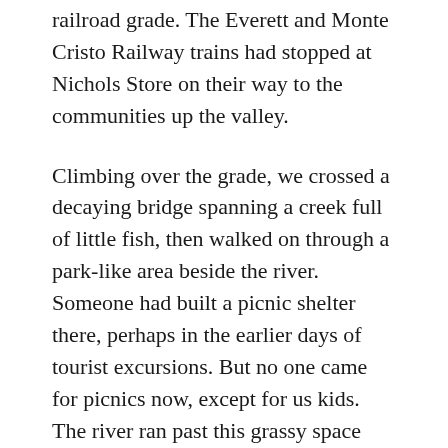railroad grade. The Everett and Monte Cristo Railway trains had stopped at Nichols Store on their way to the communities up the valley.
Climbing over the grade, we crossed a decaying bridge spanning a creek full of little fish, then walked on through a park-like area beside the river. Someone had built a picnic shelter there, perhaps in the earlier days of tourist excursions. But no one came for picnics now, except for us kids. The river ran past this grassy space and beyond lay the quiet eddy that was our swimming hole.
The remains of an old railroad-bridge buttress loomed above the hole. A deluge in 1897 had